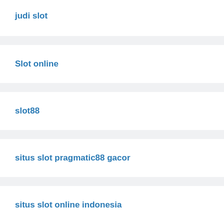judi slot
Slot online
slot88
situs slot pragmatic88 gacor
situs slot online indonesia